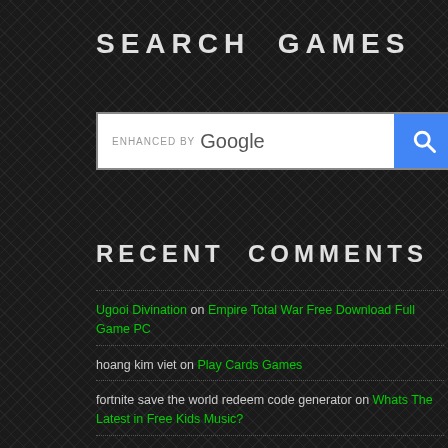SEARCH GAMES
[Figure (screenshot): Google search box with 'enhanced by Google' label and blue search button with magnifying glass icon]
RECENT COMMENTS
Ugooi Divination on Empire Total War Free Download Full Game PC
hoang kim viet on Play Cards Games
fortnite save the world redeem code generator on Whats The Latest in Free Kids Music?
RalphJuicy on Best Action Games for Android
Ultrapex Keto on Action Alien The Alien Wasteland